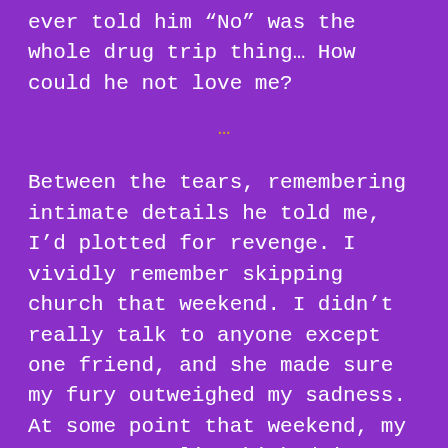ever told him “No” was the whole drug trip thing… How could he not love me?
…
Between the tears, remembering intimate details he told me, I’d plotted for revenge. I vividly remember skipping church that weekend. I didn’t really talk to anyone except one friend, and she made sure my fury outweighed my sadness. At some point that weekend, my runner mentality kicked in. I woke up that Monday, went to my job and asked them to transfer me. I explained to them, I was fearful